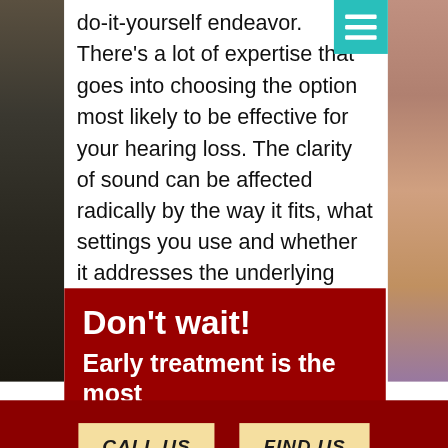do-it-yourself endeavor. There's a lot of expertise that goes into choosing the option most likely to be effective for your hearing loss. The clarity of sound can be affected radically by the way it fits, what settings you use and whether it addresses the underlying problem. The first step in treating hearing loss should always be a hearing test with a licensed audiologist.
Don't wait!
Early treatment is the most
CALL US
FIND US